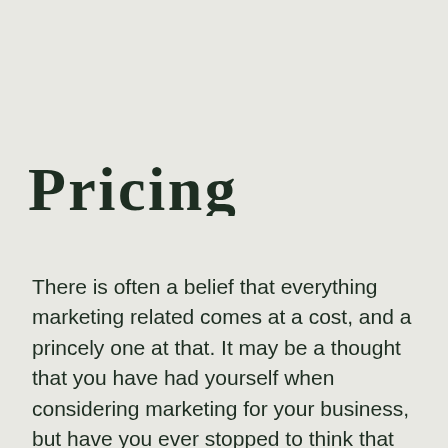Pricing statement.
There is often a belief that everything marketing related comes at a cost, and a princely one at that. It may be a thought that you have had yourself when considering marketing for your business, but have you ever stopped to think that notion through?